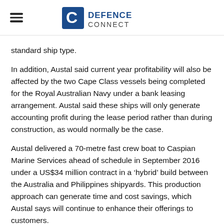DEFENCE CONNECT
standard ship type.
In addition, Austal said current year profitability will also be affected by the two Cape Class vessels being completed for the Royal Australian Navy under a bank leasing arrangement. Austal said these ships will only generate accounting profit during the lease period rather than during construction, as would normally be the case.
Austal delivered a 70-metre fast crew boat to Caspian Marine Services ahead of schedule in September 2016 under a US$34 million contract in a ‘hybrid’ build between the Australia and Philippines shipyards. This production approach can generate time and cost savings, which Austal says will continue to enhance their offerings to customers.
Sustainment activities have generally been generating strong